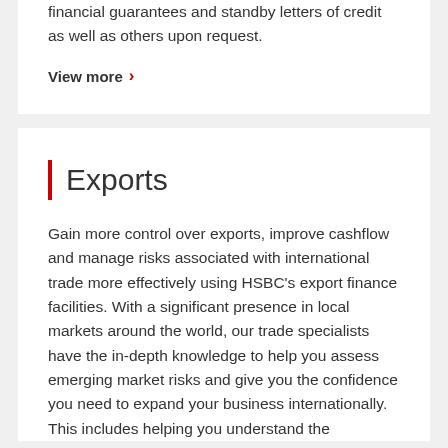financial guarantees and standby letters of credit as well as others upon request.
View more >
Exports
Gain more control over exports, improve cashflow and manage risks associated with international trade more effectively using HSBC's export finance facilities. With a significant presence in local markets around the world, our trade specialists have the in-depth knowledge to help you assess emerging market risks and give you the confidence you need to expand your business internationally. This includes helping you understand the